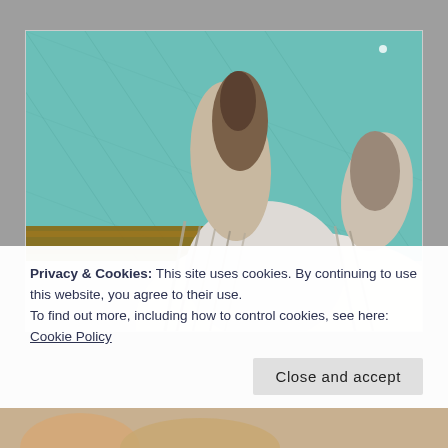[Figure (photo): A close-up photo of a horse's head/ear taken from below, looking up toward a teal/green shade net ceiling. The horse appears white or light grey with a brown-tipped ear visible prominently in the center, and mane hair visible. A wooden beam or pole is visible behind the shade netting.]
Privacy & Cookies: This site uses cookies. By continuing to use this website, you agree to their use.
To find out more, including how to control cookies, see here: Cookie Policy
Close and accept
[Figure (photo): Partial view of a person's face at the bottom of the page, cut off.]